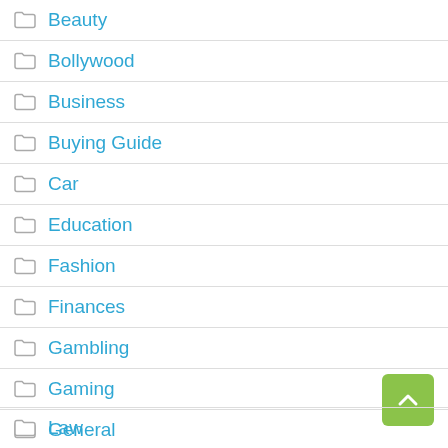Beauty
Bollywood
Business
Buying Guide
Car
Education
Fashion
Finances
Gambling
Gaming
General
Health
Hollywood
Home and Garden
Law